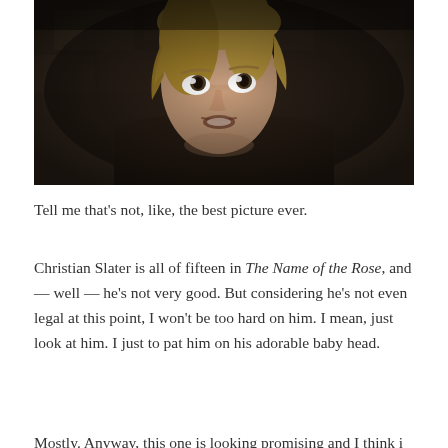[Figure (photo): A young Christian Slater, approximately 15 years old, in a dark medieval setting from the film The Name of the Rose. He has blonde hair and is wearing a rough dark jacket with a fur/wool collar. He looks upward with wide eyes and an open mouth. The background is dark stone.]
Tell me that's not, like, the best picture ever.
Christian Slater is all of fifteen in The Name of the Rose, and — well — he's not very good. But considering he's not even legal at this point, I won't be too hard on him. I mean, just look at him. I just to pat him on his adorable baby head.
Mostly. Anyway, this one is looking promising and I think i...